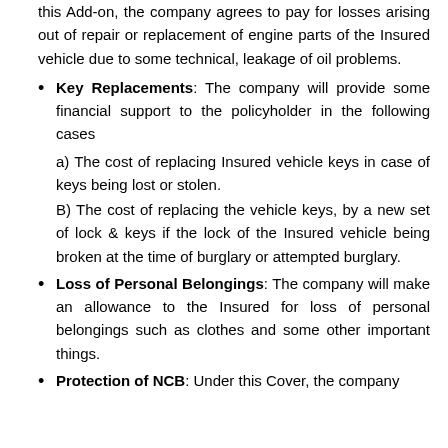this Add-on, the company agrees to pay for losses arising out of repair or replacement of engine parts of the Insured vehicle due to some technical, leakage of oil problems.
Key Replacements: The company will provide some financial support to the policyholder in the following cases
a) The cost of replacing Insured vehicle keys in case of keys being lost or stolen.
B) The cost of replacing the vehicle keys, by a new set of lock & keys if the lock of the Insured vehicle being broken at the time of burglary or attempted burglary.
Loss of Personal Belongings: The company will make an allowance to the Insured for loss of personal belongings such as clothes and some other important things.
Protection of NCB: Under this Cover, the company